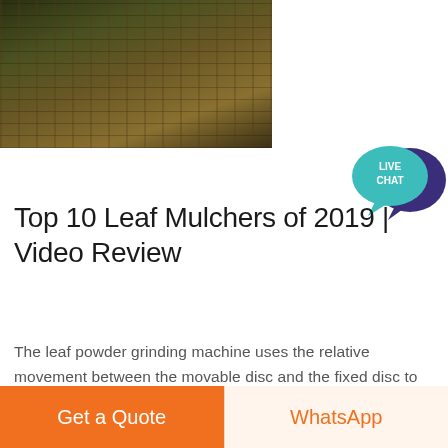[Figure (photo): Industrial machinery photo showing leaf mulching/grinding equipment with metal framework and yellow components in a dark industrial setting]
[Figure (other): Live Chat button — teal speech bubble with 'LIVE CHAT' text overlapping a dark purple speech bubble]
Top 10 Leaf Mulchers of 2019 | Video Review
The leaf powder grinding machine uses the relative movement between the movable disc and the fixed disc to impact, crush and crush the target material. The crushed material is drained directly from the bodys grinding chamber. Drugs, chemicals, food products in line with national standards, to GMP standards. Feature of leaf powder grinding machine :
Get a Quote | WhatsApp